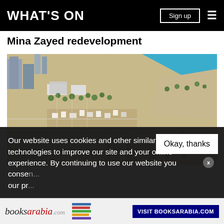WHAT'S ON
Mina Zayed redevelopment
[Figure (photo): Aerial rendering of the Mina Zayed redevelopment project showing a waterfront district with buildings, docks, marinas, palm trees, and turquoise water channels.]
Our website uses cookies and other similar technologies to improve our site and your online experience. By continuing to use our website you consen... our pr...
[Figure (logo): BooksArabia.com advertisement banner with book stack icon and 'VISIT BOOKSARABIA.COM' button]